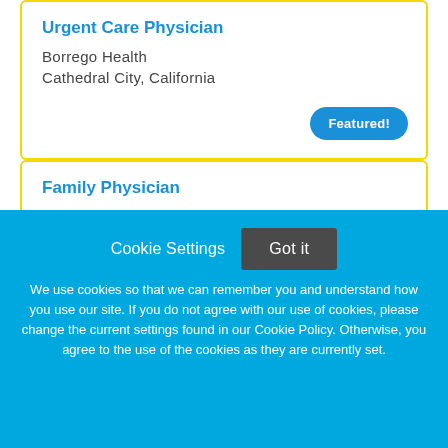Urgent Care Physician
Borrego Health
Cathedral City, California
Featured!
Family Physician
Borrego Health
Anza, California
Cookie Settings
Got it
We use cookies so that we can remember you and understand how you use our site. If you do not agree with our use of cookies, please change the current settings found in our Cookie Policy. Otherwise, you agree to the use of the cookies as they are currently set.